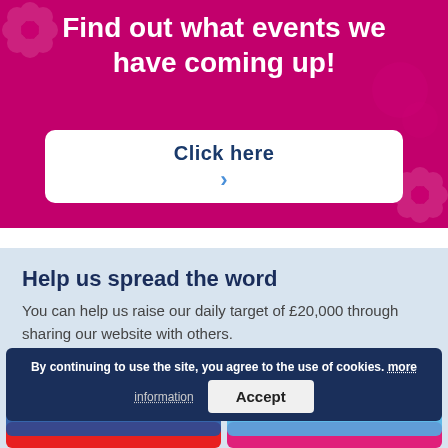Find out what events we have coming up!
Click here >
Help us spread the word
You can help us raise our daily target of £20,000 through sharing our website with others.
By continuing to use the site, you agree to the use of cookies. more information
Accept
Facebook
Twitter